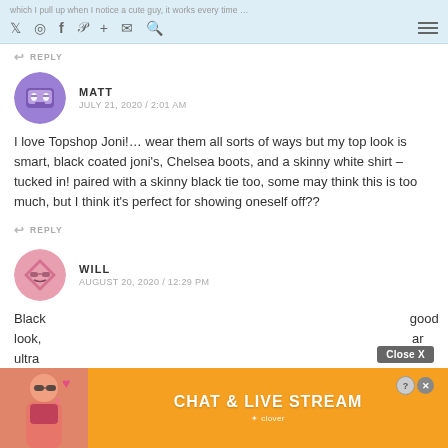which I pull up when I notice a cute guy, it works every time …
MATT
JULY 21, 2020 / 2:01 AM
I love Topshop Joni!… wear them all sorts of ways but my top look is smart, black coated joni's, Chelsea boots, and a skinny white shirt – tucked in! paired with a skinny black tie too, some may think this is too much, but I think it's perfect for showing oneself off??
REPLY
WILL
AUGUST 20, 2020 / 12:29 PM
Black … good look, … ar ultra
[Figure (screenshot): Chat & Live Stream advertisement overlay with woman photo and heart emojis, Close X button]